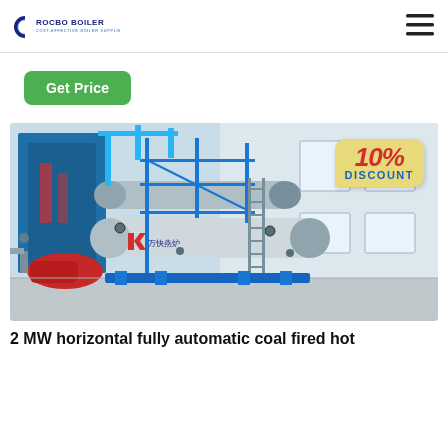ROCBO BOILER — COST-EFFECTIVE BOILER SUPPLIER
Get Price
[Figure (photo): Industrial boiler equipment — a 2 MW horizontal fully automatic coal fired hot water boiler installed in a large white factory building. The boiler has blue panels, a large cylindrical tank, blue piping scaffold structure, and a red burner on the left. A '10% DISCOUNT' badge is overlaid on the top right of the image. Chinese manufacturer logo visible.]
2 MW horizontal fully automatic coal fired hot